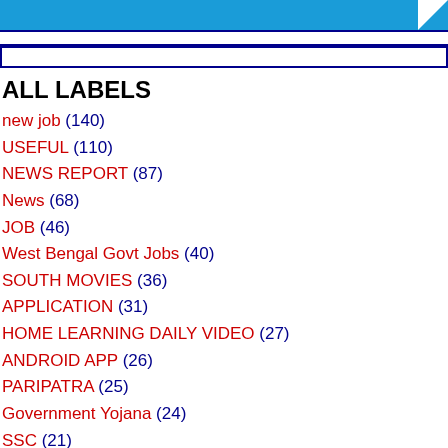[Figure (screenshot): Blue header banner with logo/icons, partially visible at top]
ALL LABELS
new job (140)
USEFUL (110)
NEWS REPORT (87)
News (68)
JOB (46)
West Bengal Govt Jobs (40)
SOUTH MOVIES (36)
APPLICATION (31)
HOME LEARNING DAILY VIDEO (27)
ANDROID APP (26)
PARIPATRA (25)
Government Yojana (24)
SSC (21)
GPSC (15)